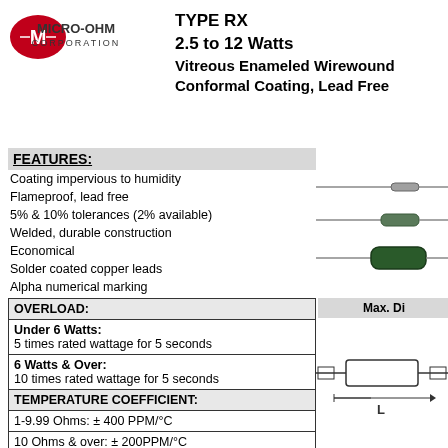[Figure (logo): Micro-Ohm Corporation logo with red oval and M symbol]
TYPE RX
2.5 to 12 Watts
Vitreous Enameled Wirewound
Conformal Coating, Lead Free
FEATURES:
Coating impervious to humidity
Flameproof, lead free
5% & 10% tolerances (2% available)
Welded, durable construction
Economical
Solder coated copper leads
Alpha numerical marking
[Figure (photo): Three wirewound resistors of different sizes shown from side view]
| OVERLOAD: |
| Under 6 Watts:
5 times rated wattage for 5 seconds |
| 6 Watts & Over:
10 times rated wattage for 5 seconds |
| TEMPERATURE COEFFICIENT: |
| 1-9.99 Ohms: ± 400 PPM/°C |
| 10 Ohms & over: ± 200PPM/°C |
| DIELECTRIC WITHSTANDING VOLTAGE |
Max. Di
[Figure (engineering-diagram): Resistor dimensional diagram showing L length marking]